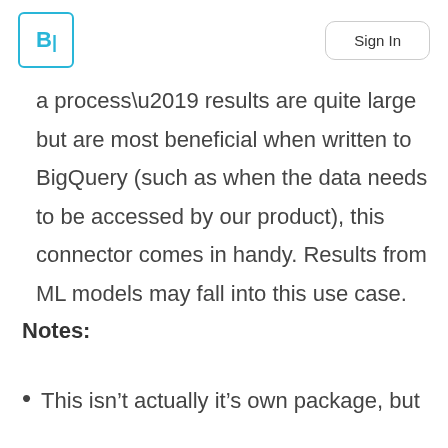B| Sign In
a process’ results are quite large but are most beneficial when written to BigQuery (such as when the data needs to be accessed by our product), this connector comes in handy. Results from ML models may fall into this use case.
Notes:
This isn’t actually it’s own package, but